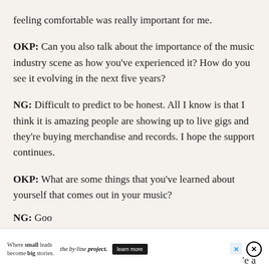feeling comfortable was really important for me.
OKP: Can you also talk about the importance of the music industry scene as how you've experienced it? How do you see it evolving in the next five years?
NG: Difficult to predict to be honest. All I know is that I think it is amazing people are showing up to live gigs and they're buying merchandise and records. I hope the support continues.
OKP: What are some things that you've learned about yourself that comes out in your music?
NG: Goo ... 'e a